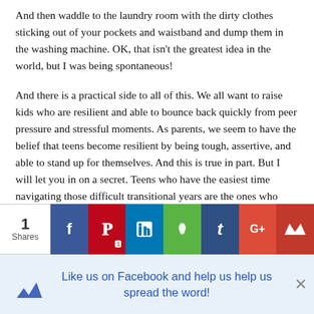And then waddle to the laundry room with the dirty clothes sticking out of your pockets and waistband and dump them in the washing machine. OK, that isn't the greatest idea in the world, but I was being spontaneous!
And there is a practical side to all of this. We all want to raise kids who are resilient and able to bounce back quickly from peer pressure and stressful moments. As parents, we seem to have the belief that teens become resilient by being tough, assertive, and able to stand up for themselves. And this is true in part. But I will let you in on a secret. Teens who have the easiest time navigating those difficult transitional years are the ones who carry a toolbox or handbag or backpack with a
[Figure (infographic): Social share bar showing: 1 Share count, Facebook, Pinterest (badge:1), LinkedIn, Evernote, Tumblr, Google+, and a crown/MV button]
Like us on Facebook and help us help us spread the word!